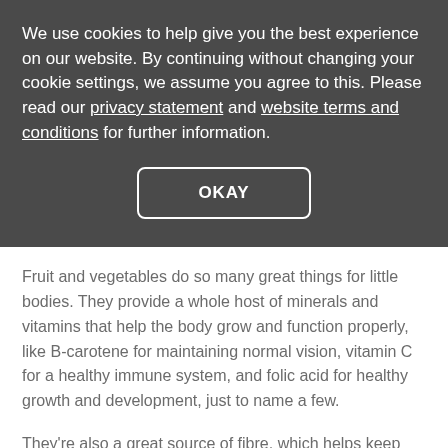We use cookies to help give you the best experience on our website. By continuing without changing your cookie settings, we assume you agree to this. Please read our privacy statement and website terms and conditions for further information.
OKAY
Fruit and vegetables do so many great things for little bodies. They provide a whole host of minerals and vitamins that help the body grow and function properly, like B-carotene for maintaining normal vision, vitamin C for a healthy immune system, and folic acid for healthy growth and development, just to name a few.
They're also a great source of fibre, which helps keep the